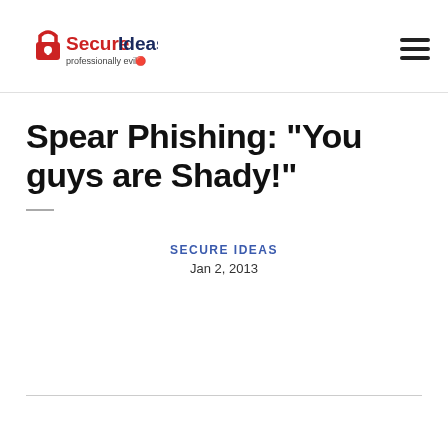[Figure (logo): SecureIdeas logo with red padlock icon and tagline 'professionally evil']
Spear Phishing: "You guys are Shady!"
SECURE IDEAS
Jan 2, 2013